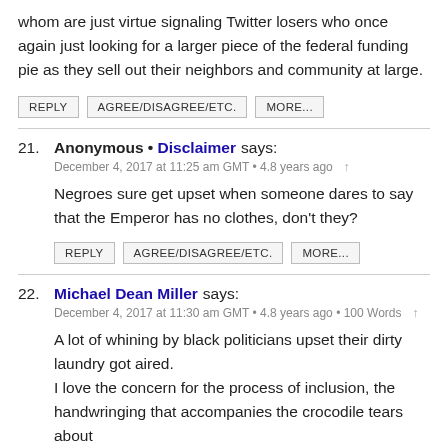whom are just virtue signaling Twitter losers who once again just looking for a larger piece of the federal funding pie as they sell out their neighbors and community at large.
REPLY   AGREE/DISAGREE/ETC.   MORE...
21. Anonymous • Disclaimer says:
December 4, 2017 at 11:25 am GMT • 4.8 years ago ↑
Negroes sure get upset when someone dares to say that the Emperor has no clothes, don't they?
REPLY   AGREE/DISAGREE/ETC.   MORE...
22. Michael Dean Miller says:
December 4, 2017 at 11:30 am GMT • 4.8 years ago • 100 Words ↑
A lot of whining by black politicians upset their dirty laundry got aired.
I love the concern for the process of inclusion, the handwringing that accompanies the crocodile tears about